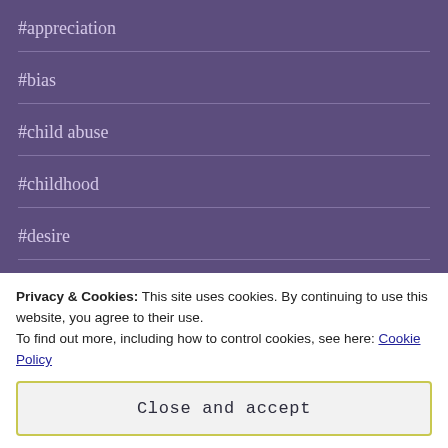#appreciation
#bias
#child abuse
#childhood
#desire
#endurance
#exploitation
Privacy & Cookies: This site uses cookies. By continuing to use this website, you agree to their use.
To find out more, including how to control cookies, see here: Cookie Policy
Close and accept